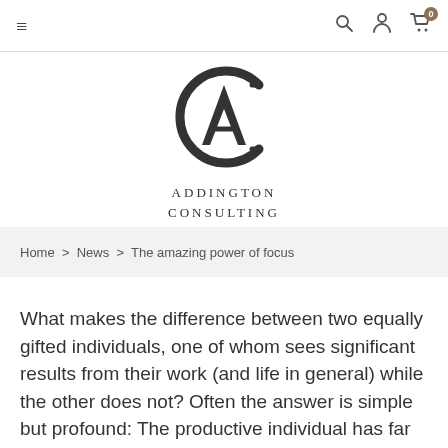≡  🔍  👤  🛒 0
[Figure (logo): Addington Consulting logo — stylized letter C enclosing letter A, with text ADDINGTON CONSULTING below]
Home > News > The amazing power of focus
What makes the difference between two equally gifted individuals, one of whom sees significant results from their work (and life in general) while the other does not? Often the answer is simple but profound: The productive individual has far